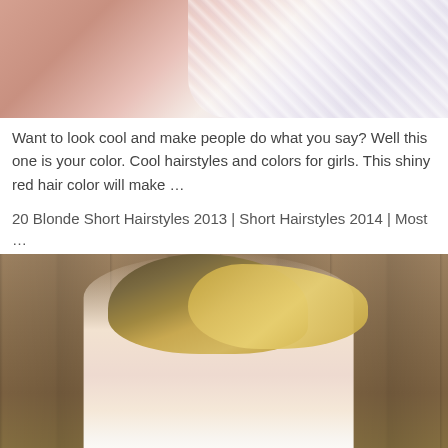[Figure (photo): Top portion of a photo showing lace fabric or clothing with pink/skin tones in the background — cropped, only bottom portion visible]
Want to look cool and make people do what you say? Well this one is your color. Cool hairstyles and colors for girls. This shiny red hair color will make …
20 Blonde Short Hairstyles 2013 | Short Hairstyles 2014 | Most …
[Figure (photo): Photo of a young woman with a short blonde bob hairstyle with dark roots, wearing a white tank top, standing against a wooden wall background]